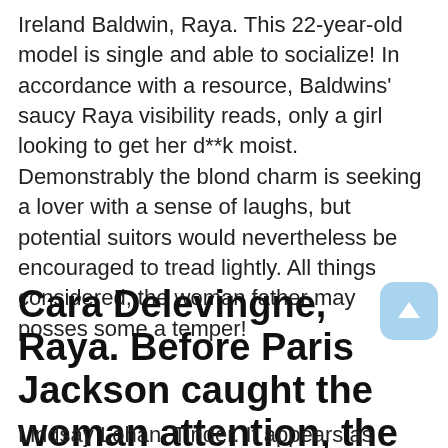Ireland Baldwin, Raya. This 22-year-old model is single and able to socialize! In accordance with a resource, Baldwins' saucy Raya visibility reads, only a girl looking to get her d**k moist. Demonstrably the blond charm is seeking a lover with a sense of laughs, but potential suitors would nevertheless be encouraged to tread lightly. All things considered, the woman father may posses some a temper!
Cara Delevingne, Raya. Before Paris Jackson caught the woman attention, the model/actress.
Lindsay Lohan, Tinder. It appears as though for